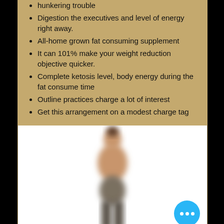hunkering trouble
Digestion the executives and level of energy right away.
All-home grown fat consuming supplement
It can 101% make your weight reduction objective quicker.
Complete ketosis level, body energy during the fat consume time
Outline practices charge a lot of interest
Get this arrangement on a modest charge tag
[Figure (photo): Blurred photo of a person standing, showing body silhouette against white background, with a blue chat button overlay in the bottom right corner]